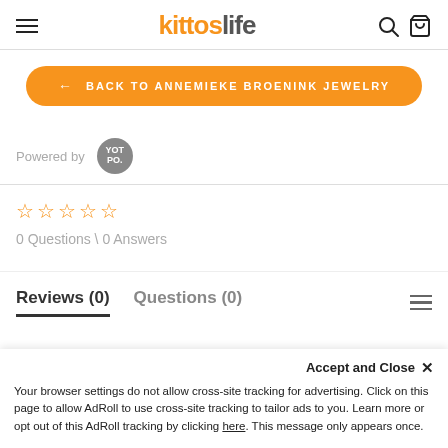kitroslife
← BACK TO ANNEMIEKE BROENINK JEWELRY
Powered by YOTPO.
[Figure (other): 5 empty star rating icons in orange]
0 Questions \ 0 Answers
Reviews (0)   Questions (0)
Accept and Close ×
Your browser settings do not allow cross-site tracking for advertising. Click on this page to allow AdRoll to use cross-site tracking to tailor ads to you. Learn more or opt out of this AdRoll tracking by clicking here. This message only appears once.